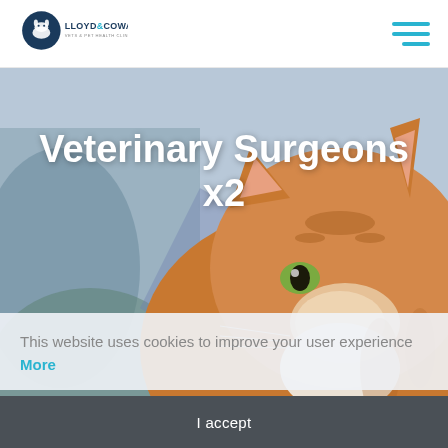[Figure (logo): Lloyd & Cowan veterinary clinic logo with animal silhouette icon and text]
Veterinary Surgeons x2
[Figure (photo): Close-up photograph of an orange and white cat being examined, with blurred veterinary background]
This website uses cookies to improve your user experience More
I accept